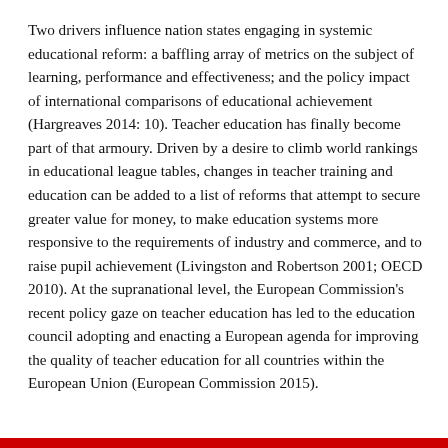Two drivers influence nation states engaging in systemic educational reform: a baffling array of metrics on the subject of learning, performance and effectiveness; and the policy impact of international comparisons of educational achievement (Hargreaves 2014: 10). Teacher education has finally become part of that armoury. Driven by a desire to climb world rankings in educational league tables, changes in teacher training and education can be added to a list of reforms that attempt to secure greater value for money, to make education systems more responsive to the requirements of industry and commerce, and to raise pupil achievement (Livingston and Robertson 2001; OECD 2010). At the supranational level, the European Commission's recent policy gaze on teacher education has led to the education council adopting and enacting a European agenda for improving the quality of teacher education for all countries within the European Union (European Commission 2015).